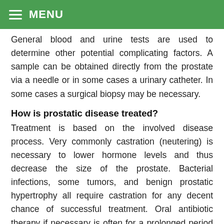MENU
General blood and urine tests are used to determine other potential complicating factors. A sample can be obtained directly from the prostate via a needle or in some cases a urinary catheter. In some cases a surgical biopsy may be necessary.
How is prostatic disease treated?
Treatment is based on the involved disease process. Very commonly castration (neutering) is necessary to lower hormone levels and thus decrease the size of the prostate. Bacterial infections, some tumors, and benign prostatic hypertrophy all require castration for any decent chance of successful treatment. Oral antibiotic therapy if necessary is often for a prolonged period of time. With some forms of prostatic